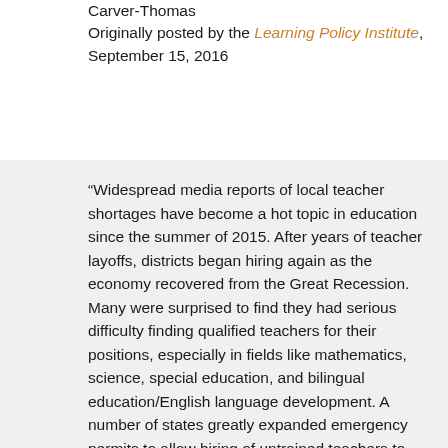Carver-Thomas
Originally posted by the Learning Policy Institute, September 15, 2016
“Widespread media reports of local teacher shortages have become a hot topic in education since the summer of 2015. After years of teacher layoffs, districts began hiring again as the economy recovered from the Great Recession. Many were surprised to find they had serious difficulty finding qualified teachers for their positions, especially in fields like mathematics, science, special education, and bilingual education/English language development. A number of states greatly expanded emergency permits to allow hiring of untrained teachers to meet these demands—which is the classic definition of shortage. To date, however, there